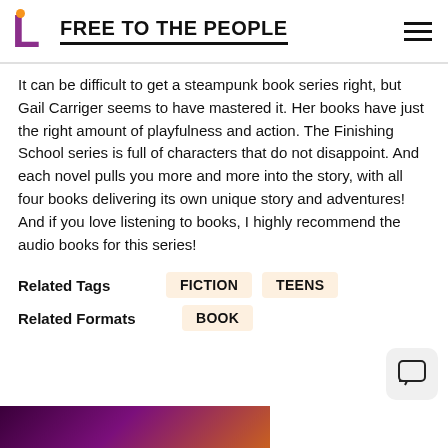FREE TO THE PEOPLE
It can be difficult to get a steampunk book series right, but Gail Carriger seems to have mastered it. Her books have just the right amount of playfulness and action. The Finishing School series is full of characters that do not disappoint. And each novel pulls you more and more into the story, with all four books delivering its own unique story and adventures! And if you love listening to books, I highly recommend the audio books for this series!
Related Tags   FICTION   TEENS
Related Formats   BOOK
[Figure (photo): Partial bottom image showing a person, dark purple and orange tones]